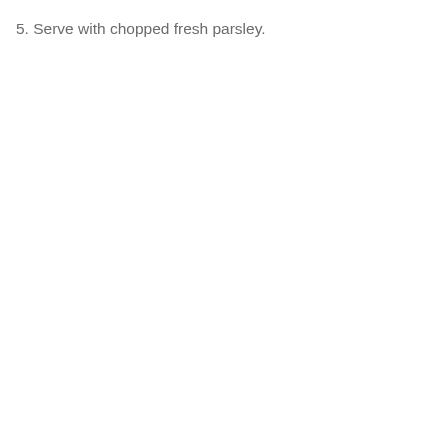5. Serve with chopped fresh parsley.